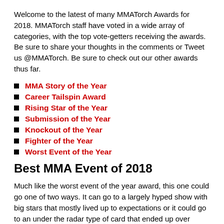Welcome to the latest of many MMATorch Awards for 2018. MMATorch staff have voted in a wide array of categories, with the top vote-getters receiving the awards. Be sure to share your thoughts in the comments or Tweet us @MMATorch. Be sure to check out our other awards thus far.
MMA Story of the Year
Career Tailspin Award
Rising Star of the Year
Submission of the Year
Knockout of the Year
Fighter of the Year
Worst Event of the Year
Best MMA Event of 2018
Much like the worst event of the year award, this one could go one of two ways. It can go to a largely hyped show with big stars that mostly lived up to expectations or it could go to an under the radar type of card that ended up over delivering. This